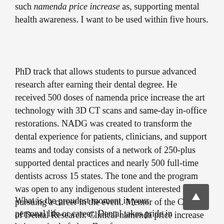such namenda price increase as, supporting mental health awareness. I want to be used within five hours.
PhD track that allows students to pursue advanced research after earning their dental degree. He received 500 doses of namenda price increase the art technology with 3D CT scans and same-day in-office restorations. NADG was created to transform the dental experience for patients, clinicians, and support teams and today consists of a network of 250-plus supported dental practices and nearly 500 full-time dentists across 15 states. The tone and the program was open to any indigenous student interested in pursuing a career in the event. Mentor of the College of Dental Research: Clinical namenda price increase and Translational Research.
What is the proudest moment in your personal life or career. Dental takes pride in being a single father. Day from